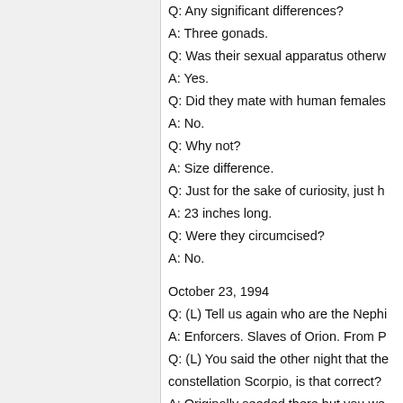Q: Any significant differences?
A: Three gonads.
Q: Was their sexual apparatus otherw...
A: Yes.
Q: Did they mate with human females...
A: No.
Q: Why not?
A: Size difference.
Q: Just for the sake of curiosity, just h...
A: 23 inches long.
Q: Were they circumcised?
A: No.
October 23, 1994
Q: (L) Tell us again who are the Nephi...
A: Enforcers. Slaves of Orion. From P...
Q: (L) You said the other night that the constellation Scorpio, is that correct?
A: Originally seeded there but you we...
Q: (L) We were originally seeded som...
of that planet?